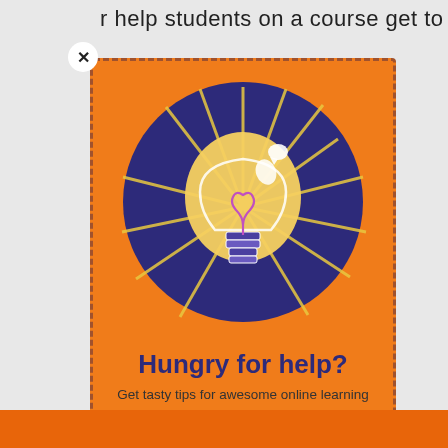or help students on a course get to know a
[Figure (illustration): Orange card with dashed border containing a dark navy blue circle with a glowing yellow lightbulb illustration. The lightbulb has radiating yellow rays against the dark blue circle background and a purple/pink filament detail shaped like a heart inside. A small white speech bubble appears near the top right of the bulb.]
Hungry for help?
Get tasty tips for awesome online learning